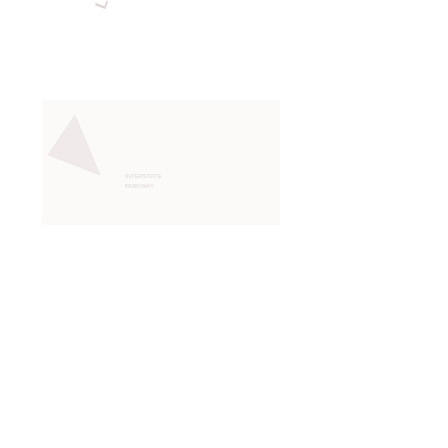[Figure (other): Very faint, nearly white image in the upper-left corner of the page. Contains faint rotated text reading 'L PARKWAY' at an angle, and a faint triangular or angular shape below. The image is extremely low contrast against the white background.]